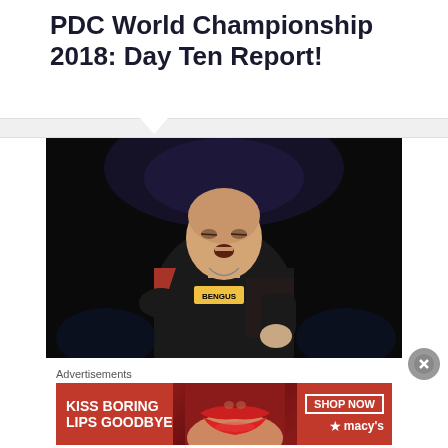PDC World Championship 2018: Day Ten Report!
[Figure (photo): A darts player wearing a black BENGUS jersey with orange/red accents, celebrating on stage under dark stage lighting. Player appears to be pumping his fist in celebration.]
Advertisements
[Figure (infographic): Advertisement banner for Macy's lipstick product. Red background with text 'KISS BORING LIPS GOODBYE' on left, close-up image of woman's lips with red lipstick in center, and 'SHOP NOW' button with Macy's star logo on right.]